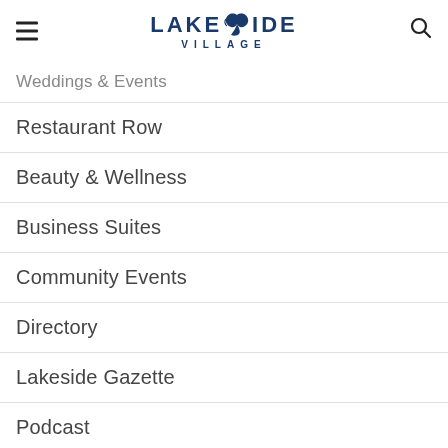Lakeside Village
Weddings & Events
Restaurant Row
Beauty & Wellness
Business Suites
Community Events
Directory
Lakeside Gazette
Podcast
News
Contact